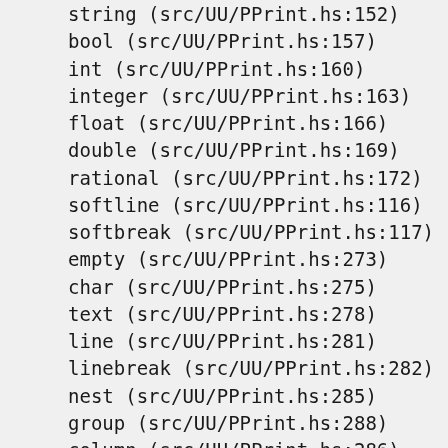string (src/UU/PPrint.hs:152)
bool (src/UU/PPrint.hs:157)
int (src/UU/PPrint.hs:160)
integer (src/UU/PPrint.hs:163)
float (src/UU/PPrint.hs:166)
double (src/UU/PPrint.hs:169)
rational (src/UU/PPrint.hs:172)
softline (src/UU/PPrint.hs:116)
softbreak (src/UU/PPrint.hs:117)
empty (src/UU/PPrint.hs:273)
char (src/UU/PPrint.hs:275)
text (src/UU/PPrint.hs:278)
line (src/UU/PPrint.hs:281)
linebreak (src/UU/PPrint.hs:282)
nest (src/UU/PPrint.hs:285)
group (src/UU/PPrint.hs:288)
column (src/UU/PPrint.hs:286)
nesting (src/UU/PPrint.hs:287)
width (src/UU/PPrint.hs:239)